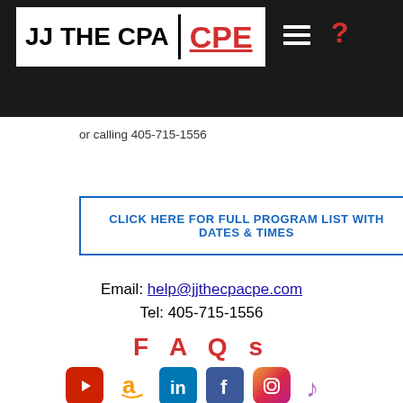[Figure (logo): JJ THE CPA | CPE logo on dark header bar with hamburger menu and red question mark]
or calling 405-715-1556
CLICK HERE FOR FULL PROGRAM LIST WITH DATES & TIMES
Email: help@jjthecpacpe.com
Tel: 405-715-1556
F A Q s
[Figure (infographic): Social media icons: YouTube, Amazon, LinkedIn, Facebook, Instagram, Apple Music]